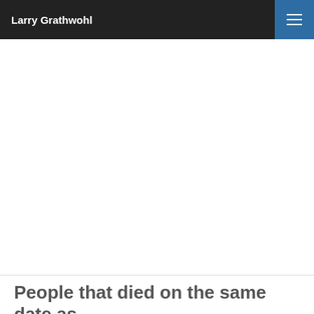Larry Grathwohl
People that died on the same date as